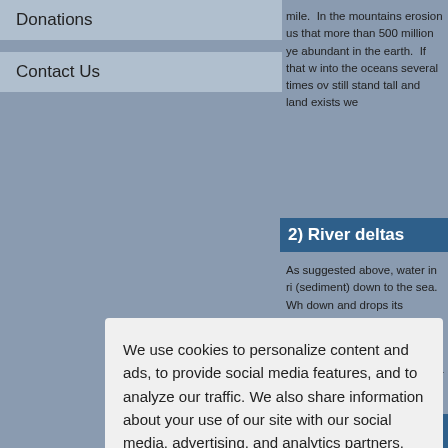Donations
Contact Us
mile.  In the mountains erosion us that more than 500 million ye abundant in the earth.  If that w into the oceans several times ov still stand tall and land exists we
2) River deltas
As suggested above, water in ri (sediment) down to the sea. Wh down and drops its sediment to thousands of years, a delta is b fan shaped projection of land th happen if this proce the Mississippi River (Figure 1), the Gulf of Mexico in ten million would shorten t only a small part of the Gulf of M flowing into the gulf for many mi Egypt), the Po River of Italy few thousand years.  These fac flowing into the oceans only sin thousand years ago.
3) Fossils and l
We use cookies to personalize content and ads, to provide social media features, and to analyze our traffic. We also share information about your use of our site with our social media, advertising, and analytics partners.
Cookie Settings
Accept All Cookies